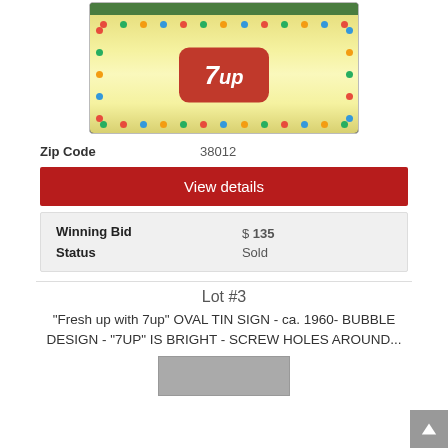[Figure (photo): Illuminated 7up vintage sign with colorful bubble dots around the border, glowing yellow/white background, red 7up logo in center]
Zip Code   38012
View details
| Winning Bid | $ 135 |
| Status | Sold |
Lot #3
"Fresh up with 7up" OVAL TIN SIGN - ca. 1960- BUBBLE DESIGN - "7UP" IS BRIGHT - SCREW HOLES AROUND...
[Figure (photo): Partial thumbnail of another auction item at bottom of page]